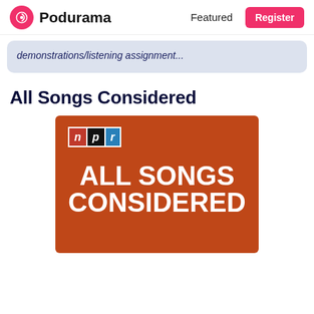Podurama | Featured | Register
demonstrations/listening assignment...
All Songs Considered
[Figure (illustration): NPR All Songs Considered podcast artwork. Brown/rust-orange background with the NPR logo at top left (three colored blocks: red 'n', black 'p', blue 'r' in italic letters). Large white bold uppercase text reads 'ALL SONGS CONSIDERED'.]